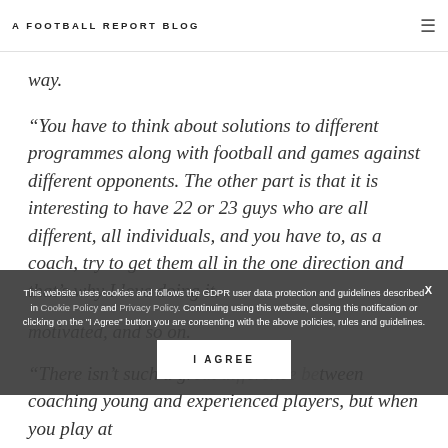A FOOTBALL REPORT BLOG
way.
“You have to think about solutions to different programmes along with football and games against different opponents. The other part is that it is interesting to have 22 or 23 guys who are all different, all individuals, and you have to, as a coach, try to get them all in the one direction and that’s why I love doing it.
motivated, and so on.
“There isn’t such a gr... tween coaching young and experienced players, but when you play at
This website uses cookies and follows the GDPR user data protection and guidelines described in Cookie Policy and Privacy Policy. Continuing using this website, closing this notification or clicking on the "I Agree" button you are consenting with the above policies, rules and guidelines.